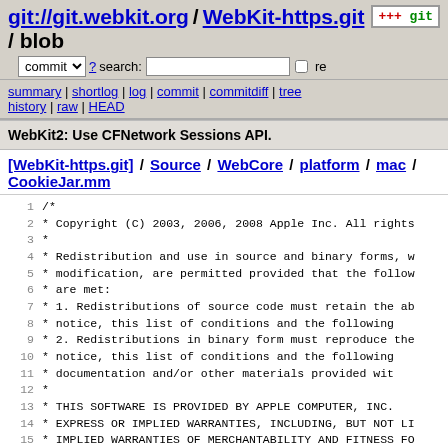git://git.webkit.org / WebKit-https.git / blob
commit ? search: re
summary | shortlog | log | commit | commitdiff | tree history | raw | HEAD
WebKit2: Use CFNetwork Sessions API.
[WebKit-https.git] / Source / WebCore / platform / mac / CookieJar.mm
1  /*
2   * Copyright (C) 2003, 2006, 2008 Apple Inc. All rights
3   *
4   * Redistribution and use in source and binary forms, w
5   * modification, are permitted provided that the follow
6   * are met:
7   * 1. Redistributions of source code must retain the ab
8   *    notice, this list of conditions and the following
9   * 2. Redistributions in binary form must reproduce the
10  *    notice, this list of conditions and the following
11  *    documentation and/or other materials provided wit
12  *
13  * THIS SOFTWARE IS PROVIDED BY APPLE COMPUTER, INC. 
14  * EXPRESS OR IMPLIED WARRANTIES, INCLUDING, BUT NOT LI
15  * IMPLIED WARRANTIES OF MERCHANTABILITY AND FITNESS FO
16  * PURPOSE ARE DISCLAIMED.  IN NO EVENT SHALL APPLE COM
17  * CONTRIBUTORS BE LIABLE FOR ANY DIRECT, INDIRECT, INC
18  * EXEMPLARY, OR CONSEQUENTIAL DAMAGES (INCLUDING, BUT